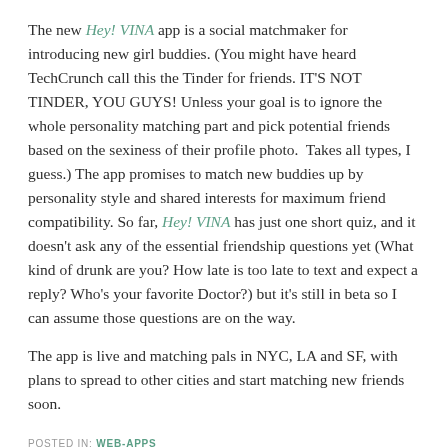The new Hey! VINA app is a social matchmaker for introducing new girl buddies. (You might have heard TechCrunch call this the Tinder for friends. IT'S NOT TINDER, YOU GUYS! Unless your goal is to ignore the whole personality matching part and pick potential friends based on the sexiness of their profile photo.  Takes all types, I guess.) The app promises to match new buddies up by personality style and shared interests for maximum friend compatibility. So far, Hey! VINA has just one short quiz, and it doesn't ask any of the essential friendship questions yet (What kind of drunk are you? How late is too late to text and expect a reply? Who's your favorite Doctor?) but it's still in beta so I can assume those questions are on the way.
The app is live and matching pals in NYC, LA and SF, with plans to spread to other cities and start matching new friends soon.
POSTED IN: WEB-APPS
TWEET THIS | LIKE THIS | ♥ THIS